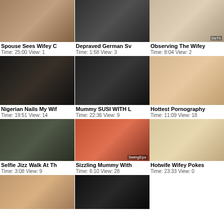[Figure (screenshot): Video thumbnail grid item 1 - Spouse Sees Wifey C]
Spouse Sees Wifey C
Time: 25:00 View: 1
[Figure (screenshot): Video thumbnail grid item 2 - Depraved German Sv]
Depraved German Sv
Time: 1:58 View: 3
[Figure (screenshot): Video thumbnail grid item 3 - Observing The Wifey]
Observing The Wifey
Time: 8:04 View: 2
[Figure (screenshot): Video thumbnail grid item 4 - Nigerian Nails My Wif]
Nigerian Nails My Wif
Time: 19:51 View: 14
[Figure (screenshot): Video thumbnail grid item 5 - Mummy SUSI WITH L]
Mummy SUSI WITH L
Time: 22:36 View: 9
[Figure (screenshot): Video thumbnail grid item 6 - Hottest Pornography]
Hottest Pornography
Time: 11:09 View: 18
[Figure (screenshot): Video thumbnail grid item 7 - Selfie Jizz Walk At Th]
Selfie Jizz Walk At Th
Time: 3:08 View: 9
[Figure (screenshot): Video thumbnail grid item 8 - Sizzling Mummy With]
Sizzling Mummy With
Time: 6:10 View: 28
[Figure (screenshot): Video thumbnail grid item 9 - Hotwife Wifey Pokes]
Hotwife Wifey Pokes
Time: 23:33 View: 0
[Figure (screenshot): Video thumbnail grid item 10 - partial, bottom left]
[Figure (screenshot): Video thumbnail grid item 11 - partial, bottom center]